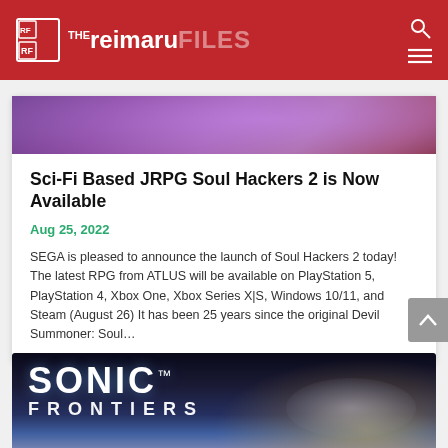The Reimaru Files
[Figure (screenshot): Colorful game screenshot at top of article card showing purple/pink character artwork]
Sci-Fi Based JRPG Soul Hackers 2 is Now Available
Aug 25, 2022
SEGA is pleased to announce the launch of Soul Hackers 2 today! The latest RPG from ATLUS will be available on PlayStation 5, PlayStation 4, Xbox One, Xbox Series X|S, Windows 10/11, and Steam (August 26) It has been 25 years since the original Devil Summoner: Soul…
[Figure (screenshot): Sonic Frontiers logo and game artwork at bottom of page]